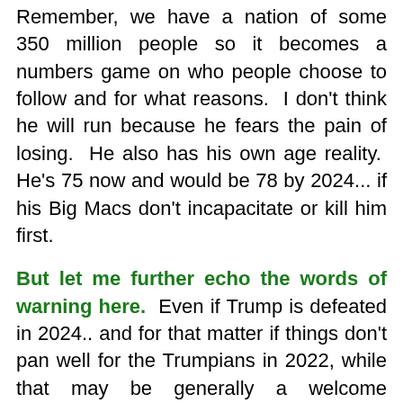Remember, we have a nation of some 350 million people so it becomes a numbers game on who people choose to follow and for what reasons.  I don't think he will run because he fears the pain of losing.  He also has his own age reality.  He's 75 now and would be 78 by 2024... if his Big Macs don't incapacitate or kill him first.
But let me further echo the words of warning here.  Even if Trump is defeated in 2024.. and for that matter if things don't pan well for the Trumpians in 2022, while that may be generally a welcome outcome, there is a very serious threat from Trump followers in state legislatures to try and de-certify, or not certify the vote counts, then vote in session for